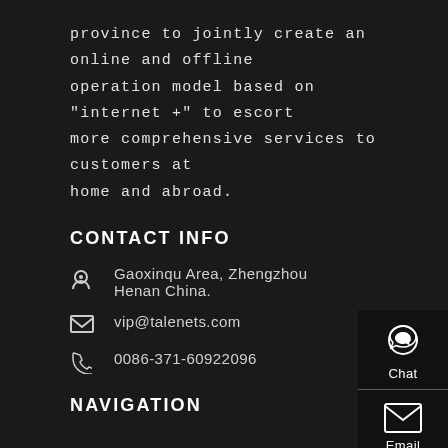province to jointly create an online and offline operation model based on "internet +" to escort more comprehensive services to customers at home and abroad.
CONTACT INFO
Gaoxinqu Area, Zhengzhou Henan China.
vip@talenets.com
0086-371-60922096
NAVIGATION
Home
Products
[Figure (infographic): Sidebar with four icons and labels: Chat (headset icon), Email (envelope icon), Contact (speech bubble icon), Top (up arrow icon). Each separated by a red horizontal line.]